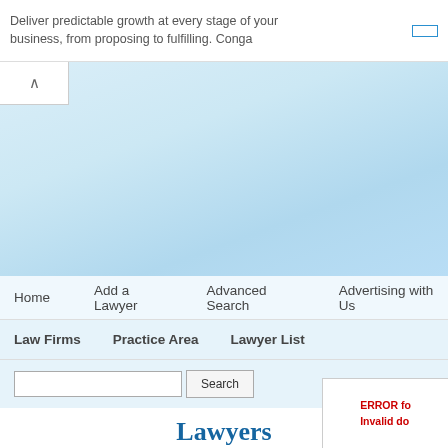Deliver predictable growth at every stage of your business, from proposing to fulfilling. Conga
[Figure (screenshot): Blue gradient banner header area with collapse arrow button]
Home   Add a Lawyer   Advanced Search   Advertising with Us
Law Firms   Practice Area   Lawyer List
Search (input field and button)
[Figure (logo): LawyersAmerica.NET logo in blue bold serif font]
ERROR for Invalid do...